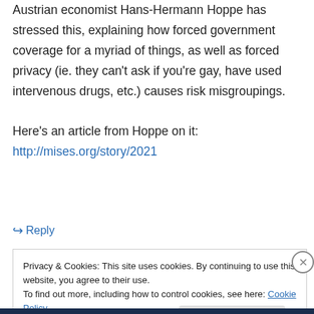Austrian economist Hans-Hermann Hoppe has stressed this, explaining how forced government coverage for a myriad of things, as well as forced privacy (ie. they can't ask if you're gay, have used intervenous drugs, etc.) causes risk misgroupings.

Here's an article from Hoppe on it:
http://mises.org/story/2021
↳ Reply
Privacy & Cookies: This site uses cookies. By continuing to use this website, you agree to their use.
To find out more, including how to control cookies, see here: Cookie Policy
Close and accept